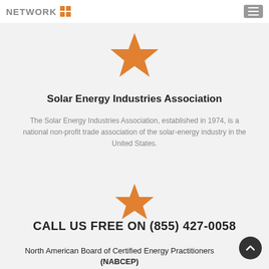NETWORK (logo grid icon) | hamburger menu
[Figure (illustration): Orange star icon, large, centered]
Solar Energy Industries Association
The Solar Energy Industries Association, established in 1974, is a national non-profit trade association of the solar-energy industry in the United States.
[Figure (illustration): Orange star icon, medium, centered]
CALL US FREE ON (855) 427-0058
North American Board of Certified Energy Practitioners (NABCEP)